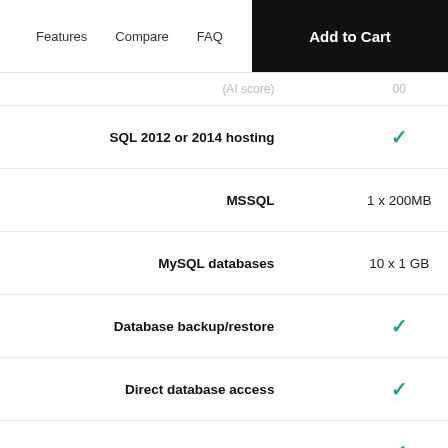Features   Compare   FAQ   Add to Cart
| Feature | Value |
| --- | --- |
| SQL 2012 or 2014 hosting | ✓ |
| MSSQL | 1 x 200MB |
| MySQL databases | 10 x 1 GB |
| Database backup/restore | ✓ |
| Direct database access | ✓ |
| DNS management | ✓ |